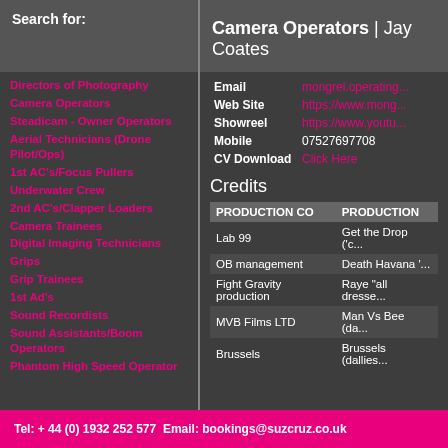Search for:
Camera Operators | Jay Coates
Directors of Photography
Camera Operators
Steadicam - Owner Operators
Aerial Technicians (Drone Pilot/Ops)
1st AC's/Focus Pullers
Underwater Crew
2nd AC's/Clapper Loaders
Camera Trainees
Digital Imaging Technicians
Grips
Grip Trainees
1st Ad's
Sound Recordists
Sound Assistants/Boom Operators
Phantom High Speed Operator
|  |  |
| --- | --- |
| Email | mongrel.operating... |
| Web Site | https://www.mong... |
| Showreel | https://www.youtu... |
| Mobile | 07527697708 |
| CV Download | Click Here |
Credits
| PRODUCTION CO | PRODUCTION |
| --- | --- |
| Lab 99 | Get the Drop ('c... |
| OB management | Death Havana '... |
| Fight Gravity production | Raye "all dresse... |
| MVB Films LTD | Man Vs Bee (da... |
| Brussels | Brussels (dallies... |
Tel: + 44 (0) 1932 252 577  Email: bookings@suzcruz.co.uk